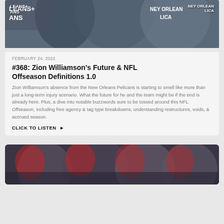[Figure (photo): Photo of people wearing New Orleans Pelicans shirts/jerseys]
FEBRUARY 24, 2022
#368: Zion Williamson's Future & NFL Offseason Definitions 1.0
Zion Williamson's absence from the New Orleans Pelicans is starting to smell like more than just a long-term injury scenario. What the future for he and the team might be if the end is already here. Plus, a dive into notable buzzwords sure to be tossed around this NFL Offseason, including free agency & tag type breakdowns, understanding restructures, voids, & accrued season.
CLICK TO LISTEN ▶
[Figure (photo): Photo of Tampa Bay Buccaneers football players in helmets and uniforms grouped together]